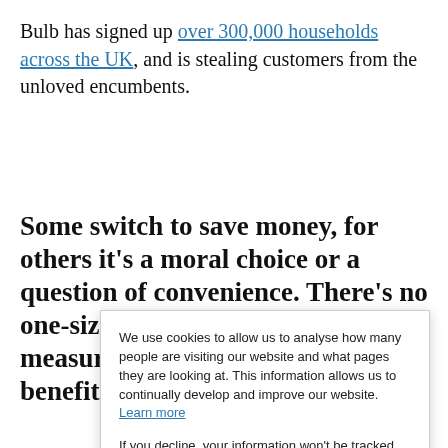Bulb has signed up over 300,000 households across the UK, and is stealing customers from the unloved encumbents.
Some switch to save money, for others it's a moral choice or a question of convenience. There's no one-size-fits-all recipe. What is measurable, however is the benefits that
We use cookies to allow us to analyse how many people are visiting our website and what pages they are looking at. This information allows us to continually develop and improve our website. Learn more

If you decline, your information won't be tracked when you visit this website. A single cookie will be used in your browser to remember your preference not to be tracked.